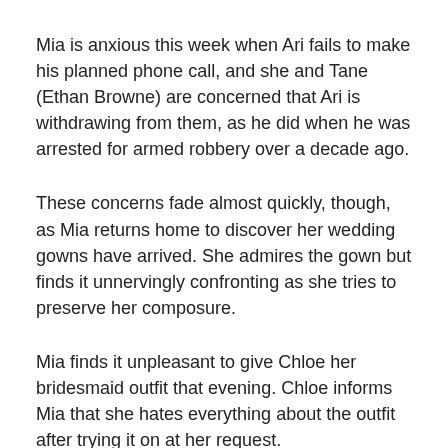Mia is anxious this week when Ari fails to make his planned phone call, and she and Tane (Ethan Browne) are concerned that Ari is withdrawing from them, as he did when he was arrested for armed robbery over a decade ago.
These concerns fade almost quickly, though, as Mia returns home to discover her wedding gowns have arrived. She admires the gown but finds it unnervingly confronting as she tries to preserve her composure.
Mia finds it unpleasant to give Chloe her bridesmaid outfit that evening. Chloe informs Mia that she hates everything about the outfit after trying it on at her request.
Bella (Courtney Miller) is irritated with Mia and accuses her of giving Chloe the dress when she knows she's having trouble